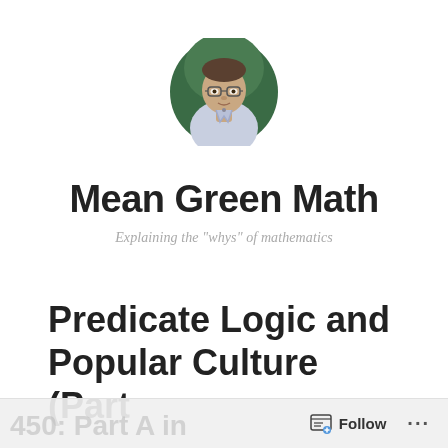[Figure (photo): Circular avatar photo of a man with glasses against a green background]
Mean Green Math
Explaining the "whys" of mathematics
Predicate Logic and Popular Culture (Part
Follow ...